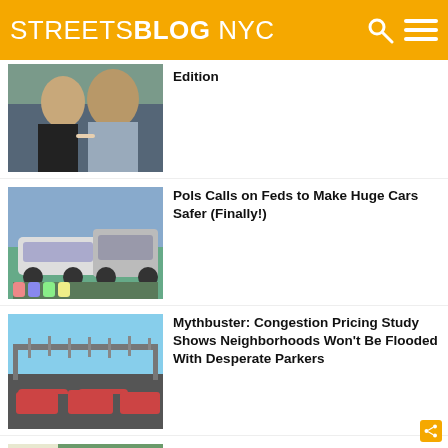STREETSBLOG NYC
[Figure (photo): Two men shaking hands, one in a black t-shirt and one in a plaid shirt]
Edition
[Figure (photo): Children sitting on grass next to large SUV/truck vehicles on a street]
Pols Calls on Feds to Make Huge Cars Safer (Finally!)
[Figure (photo): Toll gantry overhead highway structure with cars below]
Mythbuster: Congestion Pricing Study Shows Neighborhoods Won't Be Flooded With Desperate Parkers
[Figure (photo): Street scene with cyclists and green trees, map inset visible]
OPINION: We Need a River-to-River Crosstown Bike Network in Manhattan